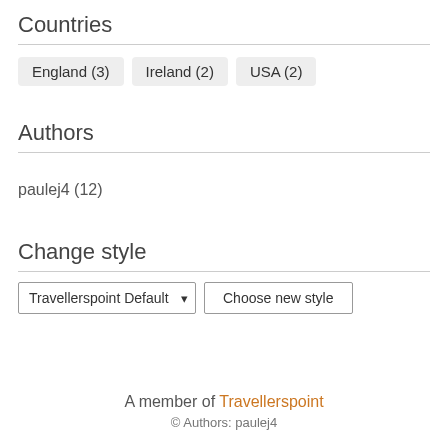Countries
England (3)
Ireland (2)
USA (2)
Authors
paulej4 (12)
Change style
Travellerspoint Default  Choose new style
A member of Travellerspoint
© Authors: paulej4